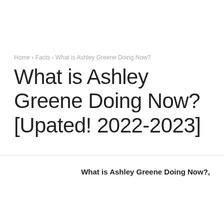Home › Facts › What is Ashley Greene Doing Now?
What is Ashley Greene Doing Now? [Upated! 2022-2023]
What is Ashley Greene Doing Now?,